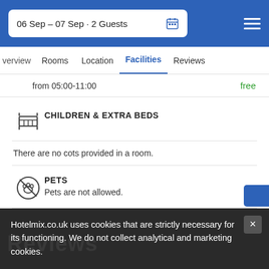06 Sep – 07 Sep · 2 Guests
verview   Rooms   Location   Facilities   Reviews
from 05:00-11:00   free
CHILDREN & EXTRA BEDS
There are no cots provided in a room.
PETS
Pets are not allowed.
- Less
Hotelmix.co.uk uses cookies that are strictly necessary for its functioning. We do not collect analytical and marketing cookies.